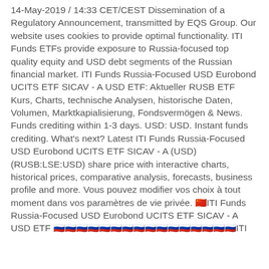14-May-2019 / 14:33 CET/CEST Dissemination of a Regulatory Announcement, transmitted by EQS Group. Our website uses cookies to provide optimal functionality. ITI Funds ETFs provide exposure to Russia-focused top quality equity and USD debt segments of the Russian financial market. ITI Funds Russia-Focused USD Eurobond UCITS ETF SICAV - A USD ETF: Aktueller RUSB ETF Kurs, Charts, technische Analysen, historische Daten, Volumen, Marktkapialisierung, Fondsvermögen & News. Funds crediting within 1-3 days. USD: USD. Instant funds crediting. What's next? Latest ITI Funds Russia-Focused USD Eurobond UCITS ETF SICAV - A (USD) (RUSB:LSE:USD) share price with interactive charts, historical prices, comparative analysis, forecasts, business profile and more. Vous pouvez modifier vos choix à tout moment dans vos paramètres de vie privée. 🇨🇳ITI Funds Russia-Focused USD Eurobond UCITS ETF SICAV - A USD ETF 🇷🇺🇷🇺🇷🇺🇷🇺🇷🇺🇷🇺🇷🇺🇷🇺🇷🇺🇷🇺🇷🇺🇷🇺🇷🇺🇷🇺🇷🇺🇷🇺ITI